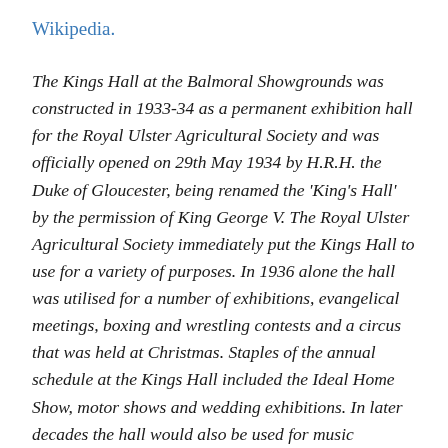Wikipedia.
The Kings Hall at the Balmoral Showgrounds was constructed in 1933-34 as a permanent exhibition hall for the Royal Ulster Agricultural Society and was officially opened on 29th May 1934 by H.R.H. the Duke of Gloucester, being renamed the 'King's Hall' by the permission of King George V. The Royal Ulster Agricultural Society immediately put the Kings Hall to use for a variety of purposes. In 1936 alone the hall was utilised for a number of exhibitions, evangelical meetings, boxing and wrestling contests and a circus that was held at Christmas. Staples of the annual schedule at the Kings Hall included the Ideal Home Show, motor shows and wedding exhibitions. In later decades the hall would also be used for music concerts; the Beatles famously performed at the Kings Hall on 2nd November 1964. The Kings Hall was put to a very